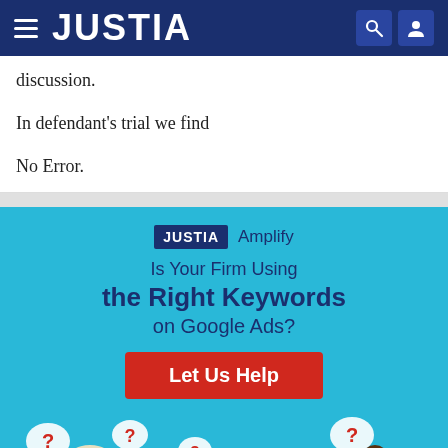JUSTIA
discussion.
In defendant's trial we find
No Error.
[Figure (infographic): Justia Amplify advertisement banner with cyan background. Shows 'JUSTIA Amplify' logo/text, headline 'Is Your Firm Using the Right Keywords on Google Ads?', a red 'Let Us Help' button, and illustrated people with question mark speech bubbles below.]